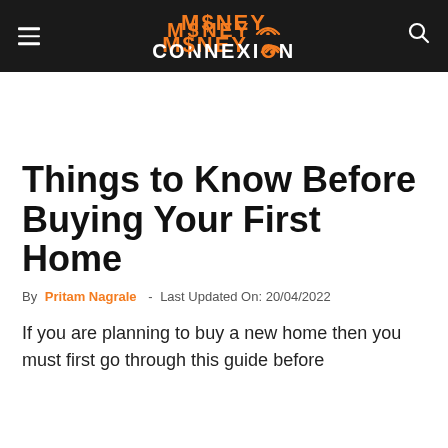MONEY CONNEXION
Things to Know Before Buying Your First Home
By Pritam Nagrale - Last Updated On: 20/04/2022
If you are planning to buy a new home then you must first go through this guide before…